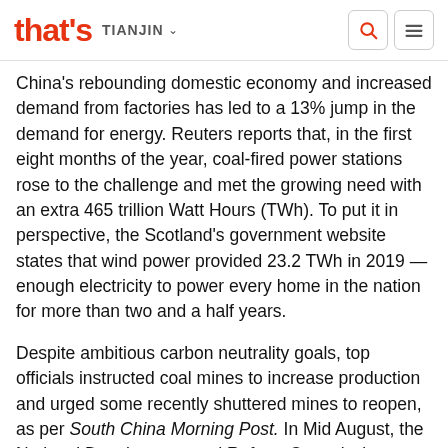that's TIANJIN
China's rebounding domestic economy and increased demand from factories has led to a 13% jump in the demand for energy. Reuters reports that, in the first eight months of the year, coal-fired power stations rose to the challenge and met the growing need with an extra 465 trillion Watt Hours (TWh). To put it in perspective, the Scotland's government website states that wind power provided 23.2 TWh in 2019 — enough electricity to power every home in the nation for more than two and a half years.
Despite ambitious carbon neutrality goals, top officials instructed coal mines to increase production and urged some recently shuttered mines to reopen, as per South China Morning Post. In Mid August, the National Development and Reform Commission published a ranked list of all 31 provinces and regions, highlighting that seven of them had failed to meet their